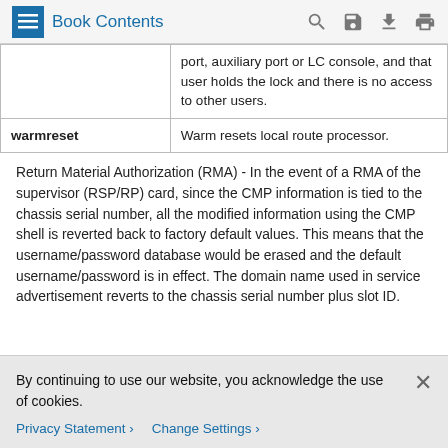Book Contents
|  | port, auxiliary port or LC console, and that user holds the lock and there is no access to other users. |
| warmreset | Warm resets local route processor. |
Return Material Authorization (RMA) - In the event of a RMA of the supervisor (RSP/RP) card, since the CMP information is tied to the chassis serial number, all the modified information using the CMP shell is reverted back to factory default values. This means that the username/password database would be erased and the default username/password is in effect. The domain name used in service advertisement reverts to the chassis serial number plus slot ID.
By continuing to use our website, you acknowledge the use of cookies.
Privacy Statement > Change Settings >